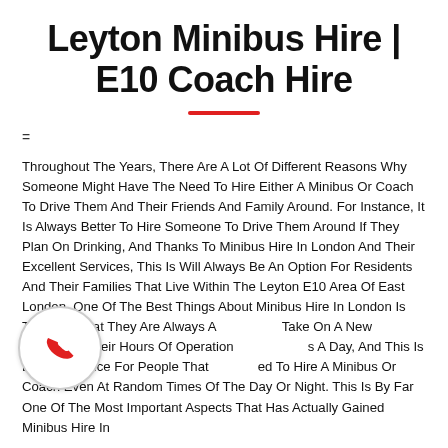Leyton Minibus Hire | E10 Coach Hire
=
Throughout The Years, There Are A Lot Of Different Reasons Why Someone Might Have The Need To Hire Either A Minibus Or Coach To Drive Them And Their Friends And Family Around. For Instance, It Is Always Better To Hire Someone To Drive Them Around If They Plan On Drinking, And Thanks To Minibus Hire In London And Their Excellent Services, This Is Will Always Be An Option For Residents And Their Families That Live Within The Leyton E10 Area Of East London. One Of The Best Things About Minibus Hire In London Is The Fact That They Are Always A[...] Take On A New Customer. Their Hours Of Operation [...] s A Day, And This Is Extremely Nice For People That [...] ed To Hire A Minibus Or Coach Even At Random Times Of The Day Or Night. This Is By Far One Of The Most Important Aspects That Has Actually Gained Minibus Hire In
[Figure (illustration): Phone handset icon in red inside a circular border]